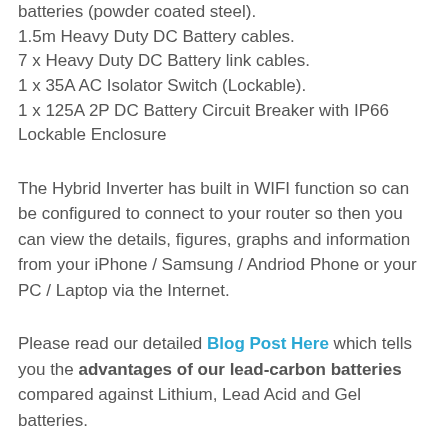batteries (powder coated steel).
1.5m Heavy Duty DC Battery cables.
7 x Heavy Duty DC Battery link cables.
1 x 35A AC Isolator Switch (Lockable).
1 x 125A 2P DC Battery Circuit Breaker with IP66 Lockable Enclosure
The Hybrid Inverter has built in WIFI function so can be configured to connect to your router so then you can view the details, figures, graphs and information from your iPhone / Samsung / Andriod Phone or your PC / Laptop via the Internet.
Please read our detailed Blog Post Here which tells you the advantages of our lead-carbon batteries compared against Lithium, Lead Acid and Gel batteries.
Note: We can also supply other smaller Retrofit Storage add on solution using the